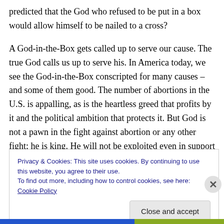predicted that the God who refused to be put in a box would allow himself to be nailed to a cross?
A God-in-the-Box gets called up to serve our cause. The true God calls us up to serve his. In America today, we see the God-in-the-Box conscripted for many causes – and some of them good. The number of abortions in the U.S. is appalling, as is the heartless greed that profits by it and the political ambition that protects it. But God is not a pawn in the fight against abortion or any other fight; he is king. He will not be exploited even in support of a just
Privacy & Cookies: This site uses cookies. By continuing to use this website, you agree to their use.
To find out more, including how to control cookies, see here: Cookie Policy